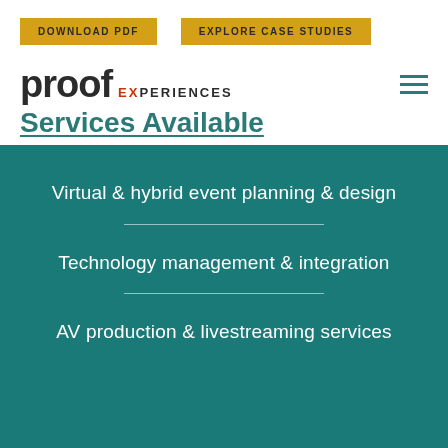DOWNLOAD PDF  EXPLORE CASE STUDIES
[Figure (logo): Proof EXPERIENCES logo with hamburger menu icon]
Services Available
Virtual & hybrid event planning & design
Technology management & integration
AV production & livestreaming services